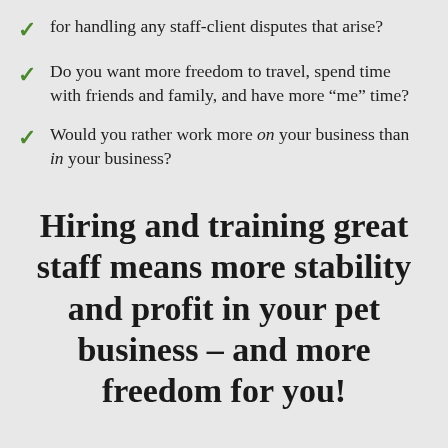for handling any staff-client disputes that arise?
Do you want more freedom to travel, spend time with friends and family, and have more "me" time?
Would you rather work more on your business than in your business?
Hiring and training great staff means more stability and profit in your pet business – and more freedom for you!